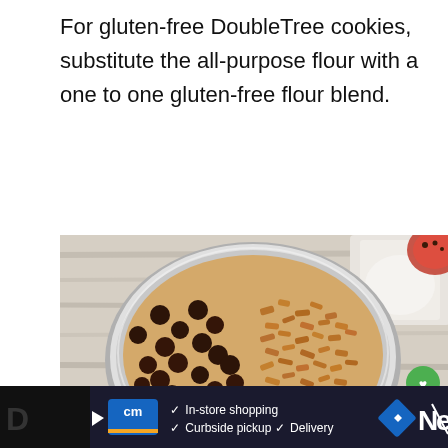For gluten-free DoubleTree cookies, substitute the all-purpose flour with a one to one gluten-free flour blend.
[Figure (photo): Overhead view of a mixing bowl containing cookie dough topped with chocolate chips on one half and chopped nuts on the other half, with a container of flour visible in the upper right. Interface elements include a green heart button, share count of 5, share button, and a 'What's Next: Air Fryer Hard Boiled Eggs' overlay.]
[Figure (screenshot): Dark advertisement banner showing a Curb side/In-store shopping ad with CM logo, checkmarks for In-store shopping, Curbside pickup, Delivery, a blue diamond navigation icon, and partial text on left and right edges.]